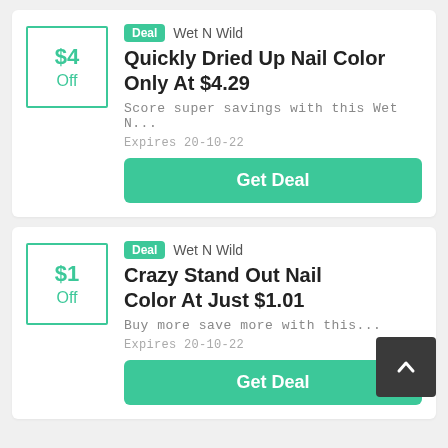[Figure (other): Discount box showing $4 Off in teal border]
Deal  Wet N Wild
Quickly Dried Up Nail Color Only At $4.29
Score super savings with this Wet N...
Expires 20-10-22
Get Deal
[Figure (other): Discount box showing $1 Off in teal border]
Deal  Wet N Wild
Crazy Stand Out Nail Color At Just $1.01
Buy more save more with this...
Expires 20-10-22
Get Deal